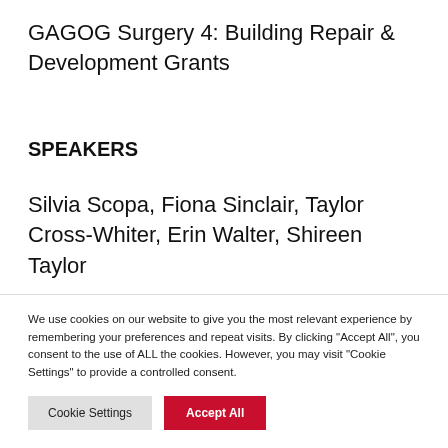GAGOG Surgery 4: Building Repair & Development Grants
SPEAKERS
Silvia Scopa, Fiona Sinclair, Taylor Cross-Whiter, Erin Walter, Shireen Taylor
Silvia Scopa
We use cookies on our website to give you the most relevant experience by remembering your preferences and repeat visits. By clicking "Accept All", you consent to the use of ALL the cookies. However, you may visit "Cookie Settings" to provide a controlled consent.